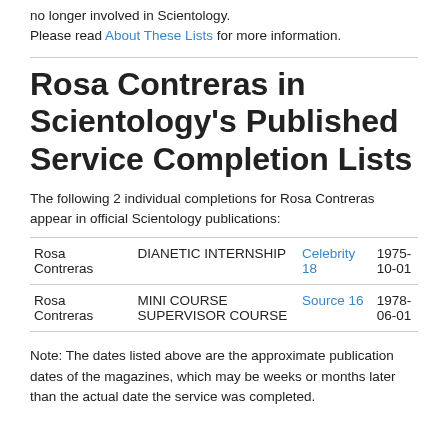no longer involved in Scientology.
Please read About These Lists for more information.
Rosa Contreras in Scientology's Published Service Completion Lists
The following 2 individual completions for Rosa Contreras appear in official Scientology publications:
| Name | Course | Publication | Date |
| --- | --- | --- | --- |
| Rosa Contreras | DIANETIC INTERNSHIP | Celebrity 18 | 1975-10-01 |
| Rosa Contreras | MINI COURSE SUPERVISOR COURSE | Source 16 | 1978-06-01 |
Note: The dates listed above are the approximate publication dates of the magazines, which may be weeks or months later than the actual date the service was completed.